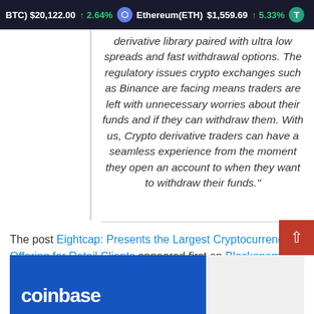BTC) $20,122.00 ↑ 2.64%   Ethereum(ETH) $1,559.69 ↑ 5.33%   T
derivative library paired with ultra low spreads and fast withdrawal options. The regulatory issues crypto exchanges such as Binance are facing means traders are left with unnecessary worries about their funds and if they can withdraw them. With us, Crypto derivative traders can have a seamless experience from the moment they open an account to when they want to withdraw their funds."
The post Eightcap: Presents the Largest Cryptocurrency Offering for Retail Clients appeared first on Blockonomi.
[Figure (screenshot): Coinbase website preview strip at bottom of page]